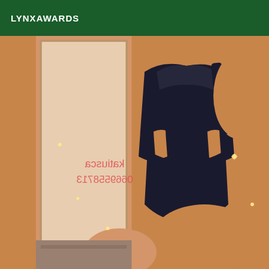LYNXAWARDS
[Figure (photo): Person wearing black lingerie bodysuit taking a mirror selfie, with sparkle/glitter overlay effects and reflected text reading 'katiusca 0669558713' visible in mirror]